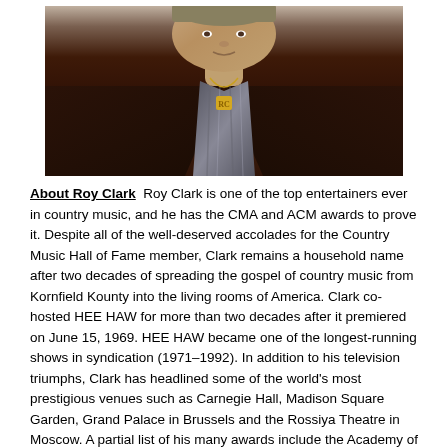[Figure (photo): Portrait photo of Roy Clark, a man in a dark brown suit jacket over a striped shirt, wearing a gold necklace with initials, photographed from the chest up.]
About Roy Clark  Roy Clark is one of the top entertainers ever in country music, and he has the CMA and ACM awards to prove it. Despite all of the well-deserved accolades for the Country Music Hall of Fame member, Clark remains a household name after two decades of spreading the gospel of country music from Kornfield Kounty into the living rooms of America. Clark co-hosted HEE HAW for more than two decades after it premiered on June 15, 1969. HEE HAW became one of the longest-running shows in syndication (1971–1992). In addition to his television triumphs, Clark has headlined some of the world's most prestigious venues such as Carnegie Hall, Madison Square Garden, Grand Palace in Brussels and the Rossiya Theatre in Moscow. A partial list of his many awards include the Academy of Country Music's Entertainer of the Year, Academy of Country Music's Comedy Act of the Year and a Grammy